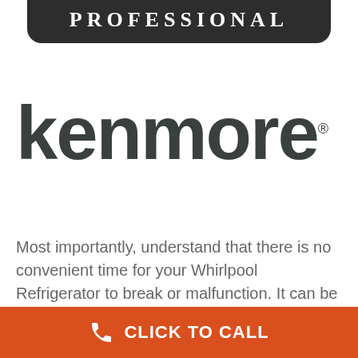[Figure (logo): Dark rounded badge with 'PROFESSIONAL' text in white serif font]
[Figure (logo): Kenmore wordmark in dark grey with registered trademark symbol]
Most importantly, understand that there is no convenient time for your Whirlpool Refrigerator to break or malfunction. It can be easy to forget how much work your device does, but it becomes clear very quickly if it breaks down.
[Figure (infographic): Orange call-to-action bar with phone icon and 'CLICK TO CALL' text in white]